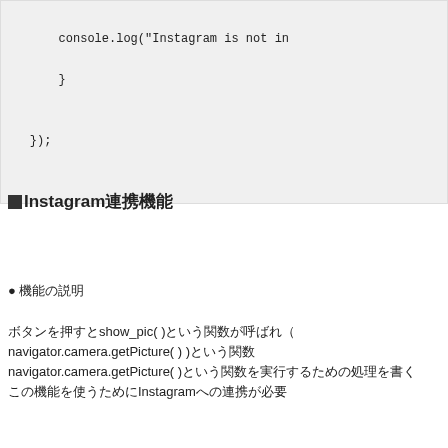console.log("Instagram is not in
        }
    });
■Instagram連携機能
● 機能の説明
ボタンを押すとshow_pic( )という関数が呼ばれ（
navigator.camera.getPicture( ) )という関数
navigator.camera.getPicture( )という関数を実行する。
この機能を使うためにInstagramへの連携が必要